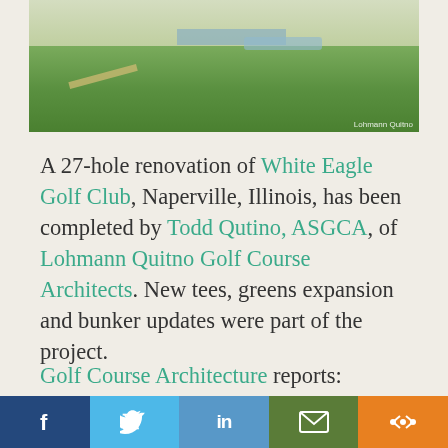[Figure (photo): Aerial view of White Eagle Golf Club course in Naperville, Illinois, showing green fairways, a pond/water hazard, and a cart path. Photo credit: Lohmann Quitno.]
A 27-hole renovation of White Eagle Golf Club, Naperville, Illinois, has been completed by Todd Qutino, ASGCA, of Lohmann Quitno Golf Course Architects. New tees, greens expansion and bunker updates were part of the project.
Golf Course Architecture reports:
[Figure (other): Social sharing bar with buttons: Facebook (dark blue), Twitter (light blue), LinkedIn (blue), Email (green), Share (orange).]